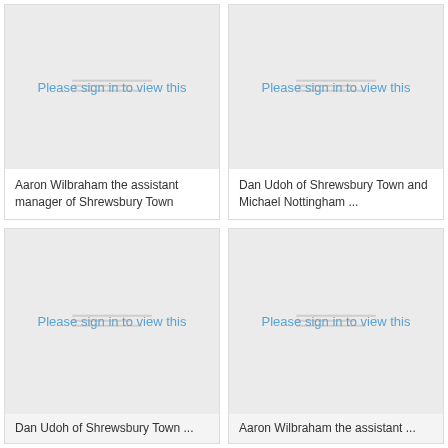[Figure (photo): Placeholder image with 'Please sign in to view this' message - top left card]
Aaron Wilbraham the assistant manager of Shrewsbury Town
[Figure (photo): Placeholder image with 'Please sign in to view this' message - top right card]
Dan Udoh of Shrewsbury Town and Michael Nottingham ...
[Figure (photo): Placeholder image with 'Please sign in to view this' message - bottom left card]
Dan Udoh of Shrewsbury Town ...
[Figure (photo): Placeholder image with 'Please sign in to view this' message - bottom right card]
Aaron Wilbraham the assistant ...